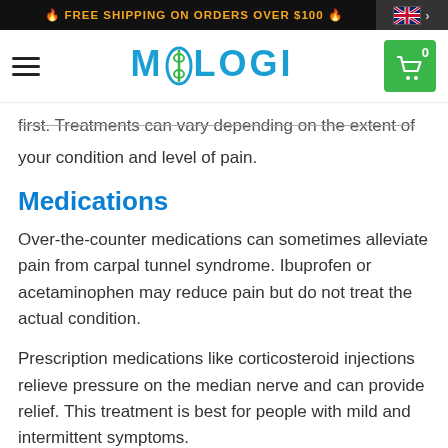🔥 FREE SHIPPING ON ORDERS OVER $100 🔥
[Figure (logo): Miologi logo with hamburger menu and green cart icon showing 0 items]
first. Treatments can vary depending on the extent of your condition and level of pain.
Medications
Over-the-counter medications can sometimes alleviate pain from carpal tunnel syndrome. Ibuprofen or acetaminophen may reduce pain but do not treat the actual condition.
Prescription medications like corticosteroid injections relieve pressure on the median nerve and can provide relief. This treatment is best for people with mild and intermittent symptoms.